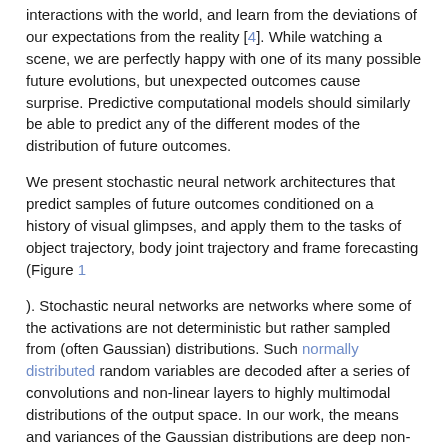interactions with the world, and learn from the deviations of our expectations from the reality [4]. While watching a scene, we are perfectly happy with one of its many possible future evolutions, but unexpected outcomes cause surprise. Predictive computational models should similarly be able to predict any of the different modes of the distribution of future outcomes.
We present stochastic neural network architectures that predict samples of future outcomes conditioned on a history of visual glimpses, and apply them to the tasks of object trajectory, body joint trajectory and frame forecasting (Figure 1
). Stochastic neural networks are networks where some of the activations are not deterministic but rather sampled from (often Gaussian) distributions. Such normally distributed random variables are decoded after a series of convolutions and non-linear layers to highly multimodal distributions of the output space. In our work, the means and variances of the Gaussian distributions are deep non-linear transformations of the network input (the past visual history), that is, the stochastic layer is “sandwiched” between deterministic encoder and decoder sub-networks,